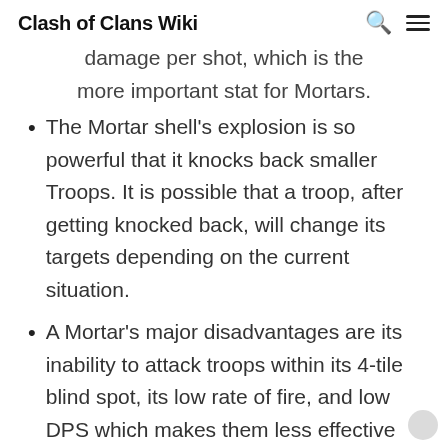Clash of Clans Wiki
damage per shot, which is the more important stat for Mortars.
The Mortar shell's explosion is so powerful that it knocks back smaller Troops. It is possible that a troop, after getting knocked back, will change its targets depending on the current situation.
A Mortar's major disadvantages are its inability to attack troops within its 4-tile blind spot, its low rate of fire, and low DPS which makes them less effective against high-health troops. It